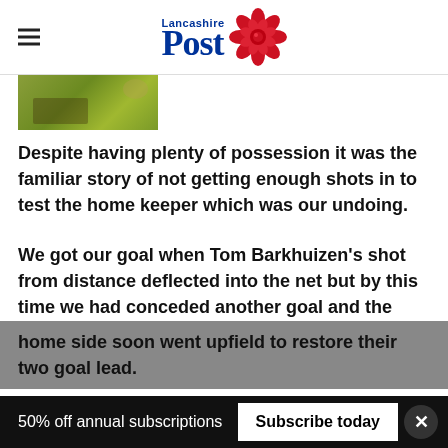Lancashire Post
[Figure (photo): Partial photo of garden/grass scene visible at top left]
Despite having plenty of possession it was the familiar story of not getting enough shots in to test the home keeper which was our undoing.
We got our goal when Tom Barkhuizen's shot from distance deflected into the net but by this time we had conceded another goal and the home side soon went upfield to restore their two goal lead.
50% off annual subscriptions   Subscribe today